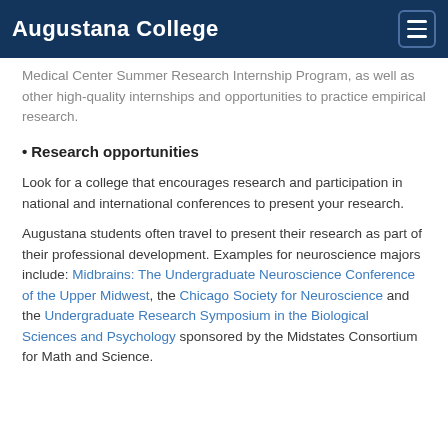Augustana College
Medical Center Summer Research Internship Program, as well as other high-quality internships and opportunities to practice empirical research.
Research opportunities
Look for a college that encourages research and participation in national and international conferences to present your research.
Augustana students often travel to present their research as part of their professional development. Examples for neuroscience majors include: Midbrains: The Undergraduate Neuroscience Conference of the Upper Midwest, the Chicago Society for Neuroscience and the Undergraduate Research Symposium in the Biological Sciences and Psychology sponsored by the Midstates Consortium for Math and Science.